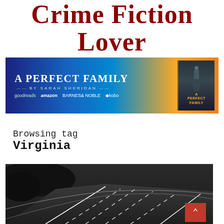Crime Fiction Lover
[Figure (illustration): Banner advertisement for 'A Perfect Family' by Sarah Sheridan, with a blue-to-yellow gradient background, book title in white serif text, author name, retailer logos (Goodreads, Amazon, Barnes & Noble, Kobo), and a book cover showing a silhouette figure.]
Browsing tag
Virginia
[Figure (photo): Black and white photograph of curved highway roads at night or dusk, showing multiple lanes with white dashes and lines.]